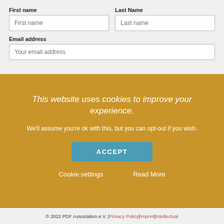First name
Last Name
Email address
[Figure (screenshot): Cookie consent overlay on a website registration form. Gold/yellow background with white italic text reading 'This website uses cookies to improve your experience.' followed by body text 'We'll assume you're ok with this, but you can opt-out if you wish.' with an ACCEPT button and Cookie settings / Read More links below.]
© 2022 PDF Association e.V. | Privacy Policy | Imprint | Intellectual